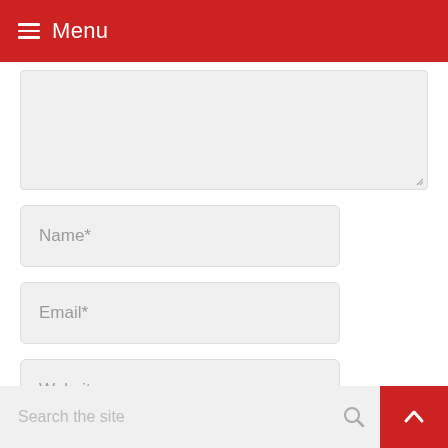Menu
[Figure (screenshot): Partially visible text area input field with resize handle]
Name*
Email*
Website
[Figure (other): reCAPTCHA widget with checkbox and 'I'm not a robot' text, reCAPTCHA logo, Privacy and Terms links]
ADD COMMENT
Search the site